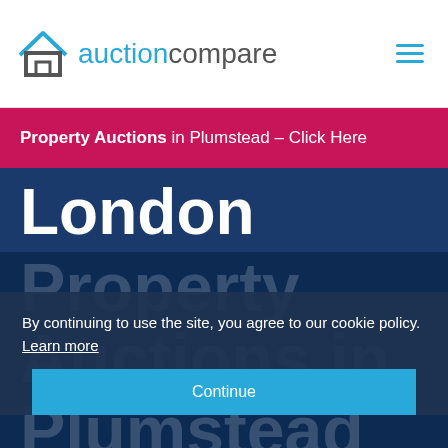[Figure (logo): AuctionCompare logo with house icon and text 'auctioncompare' in cyan/grey, hamburger menu icon in top right]
Property Auctions in Plumstead – Click Here
London
Property Auctions in Plumstead
By continuing to use the site, you agree to our cookie policy. Learn more
Continue